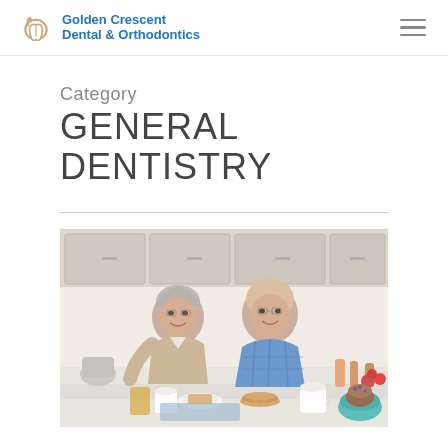Golden Crescent Dental & Orthodontics
Category
GENERAL DENTISTRY
[Figure (photo): An elderly couple smiling and eating breakfast together in a bright, modern kitchen. The woman with grey hair is on the left wearing a beige cardigan; the bald man on the right is wearing a blue plaid shirt. They are seated at a kitchen counter with cups, food, and a bowl of fruit.]